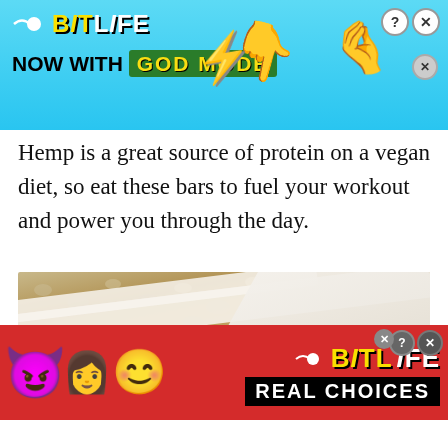[Figure (illustration): BitLife app advertisement banner with blue background, logo, 'NOW WITH GOD MODE' text, pointing hand graphics, close and help icons]
Hemp is a great source of protein on a vegan diet, so eat these bars to fuel your workout and power you through the day.
[Figure (photo): Close-up photo of hemp protein bars stacked with parchment paper between them, showing chunky textured surface]
[Figure (illustration): BitLife app advertisement banner with red background, emoji characters (devil, woman, angel), BitLife logo, and 'REAL CHOICES' text]